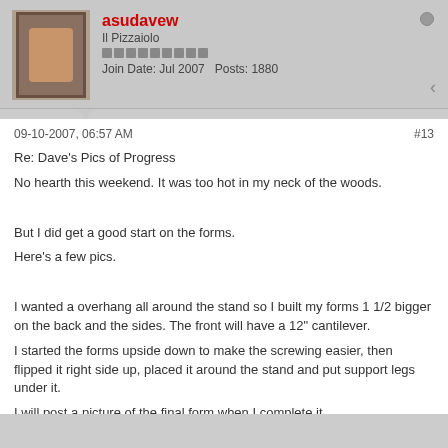asudavew | Il Pizzaiolo | Join Date: Jul 2007  Posts: 1880
09-10-2007, 06:57 AM
#13
Re: Dave's Pics of Progress
No hearth this weekend. It was too hot in my neck of the woods.
But I did get a good start on the forms.
Here's a few pics.
I wanted a overhang all around the stand so I built my forms 1 1/2 bigger on the back and the sides. The front will have a 12" cantilever.
I started the forms upside down to make the screwing easier, then flipped it right side up, placed it around the stand and put support legs under it.
I will post a picture of the final form when I complete it.
I almost forgot... I didn't level the initial blocks on the pad, so I am leveling the hearth pour to make it all work out. Actually I will probably have the mouth of the oven slightly lower than the back of the oven. So water can't get in the...